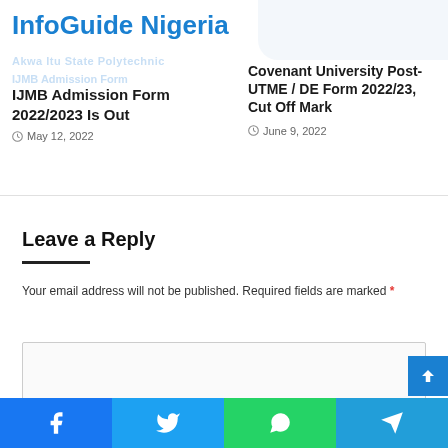InfoGuide Nigeria
Akwa Itu State Polytechnic
IJMB Admission Form
IJMB Admission Form 2022/2023 Is Out
May 12, 2022
Covenant University Post-UTME / DE Form 2022/23, Cut Off Mark
June 9, 2022
Leave a Reply
Your email address will not be published. Required fields are marked *